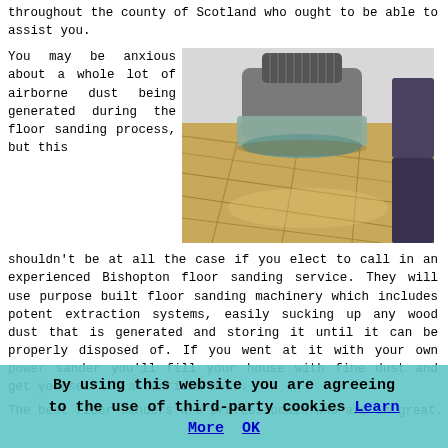throughout the county of Scotland who ought to be able to assist you.
You may be anxious about a whole lot of airborne dust being generated during the floor sanding process, but this shouldn't be at all the case if you elect to call in an experienced Bishopton floor sanding service. They will use purpose built floor sanding machinery which includes potent extraction systems, easily sucking up any wood dust that is generated and storing it until it can be properly disposed of. If you went at it with your own power sander you'll fill your house with fine dust and get yourself in a terrible mess.
[Figure (photo): A floor sanding machine on a wooden floor being operated by a person, close-up shot showing the machine details and wooden planks.]
The best floor sanders are professionals who are in great...
By using this website you are agreeing to the use of third-party cookies Learn More OK